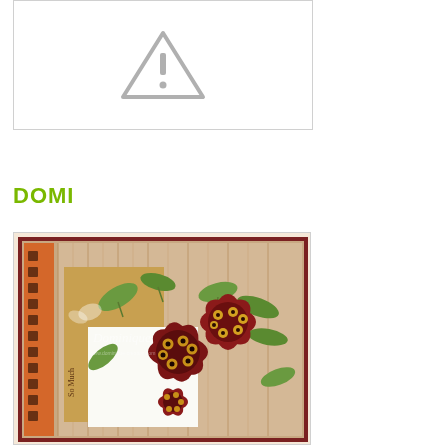[Figure (other): Broken/missing image placeholder showing a warning triangle icon with exclamation mark inside a white bordered box]
DOMI
[Figure (photo): Handmade craft card featuring large dark red/burgundy fabric flowers with yellow centers arranged on a patterned scrapbook background with green leaves, orange polka dot border strip on left, and striped wood-effect paper. Watermark reads 'Dominique' with a website URL. Text on card reads 'So Much'.]